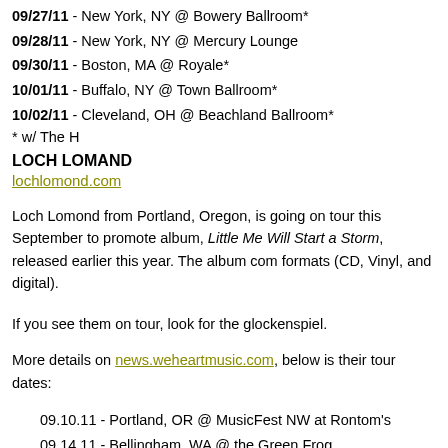09/27/11 - New York, NY @ Bowery Ballroom*
09/28/11 - New York, NY @ Mercury Lounge
09/30/11 - Boston, MA @ Royale*
10/01/11 - Buffalo, NY @ Town Ballroom*
10/02/11 - Cleveland, OH @ Beachland Ballroom*
* w/ The H
LOCH LOMAND
lochlomond.com
Loch Lomond from Portland, Oregon, is going on tour this September to promote album, Little Me Will Start a Storm, released earlier this year. The album com formats (CD, Vinyl, and digital).
If you see them on tour, look for the glockenspiel.
More details on news.weheartmusic.com, below is their tour dates:
09.10.11 - Portland, OR @ MusicFest NW at Rontom's
09.14.11 - Bellingham, WA @ the Green Frog
09.15.11 - Seattle, WA @ The Crocodile
09.16.11 - Cottage Grove, OR @ the Axe & Fiddle
09.17.11 - Davis, CA @ Sophia's Thai Kitchen w/ Point Juncture, WA
09.18.11 - Santa Cruz, CA @ the Crepe Place